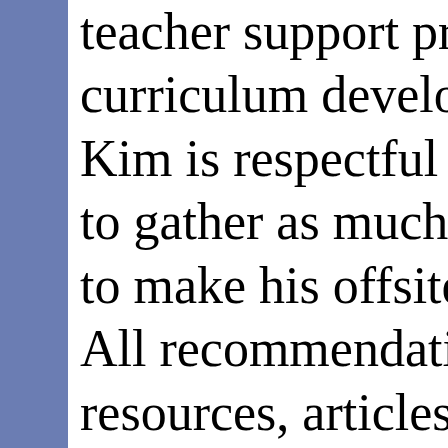teacher support process curriculum development Kim is respectful and d to gather as much infor to make his offsite repo All recommendations w resources, articles and a use in our ongoing pla